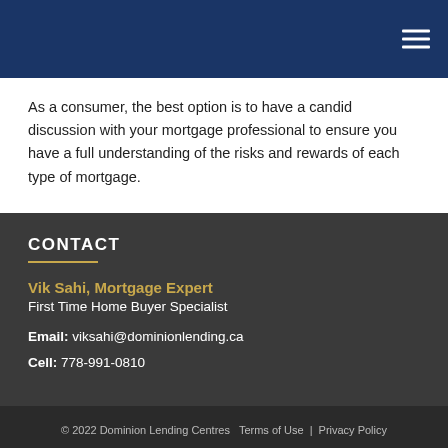As a consumer, the best option is to have a candid discussion with your mortgage professional to ensure you have a full understanding of the risks and rewards of each type of mortgage.
CONTACT
Vik Sahi, Mortgage Expert
First Time Home Buyer Specialist
Email: viksahi@dominionlending.ca
Cell: 778-991-0810
© 2022 Dominion Lending Centres   Terms of Use  |  Privacy Policy